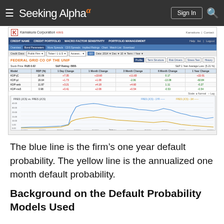Seeking Alpha
[Figure (screenshot): Screenshot of Kamakura Corporation KRIS platform showing Federal Grid Co of the UNIF credit profile with a table of RDP (%) values and 1-day, 1-month, 3-month, 6-month, 1-year changes for models KDP-jC, KDP-jd, KDP-anb, KDP-ms5. Also shows a line chart titled 'FRES (JCS) vs. FRES (JCS)' with a blue line (one-year PD) and yellow line (annualized one-month PD) from 01/2014 to 12/2014.]
The blue line is the firm’s one year default probability. The yellow line is the annualized one month default probability.
Background on the Default Probability Models Used